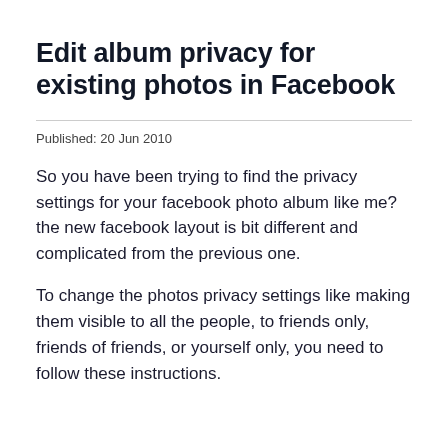Edit album privacy for existing photos in Facebook
Published: 20 Jun 2010
So you have been trying to find the privacy settings for your facebook photo album like me? the new facebook layout is bit different and complicated from the previous one.
To change the photos privacy settings like making them visible to all the people, to friends only, friends of friends, or yourself only, you need to follow these instructions.